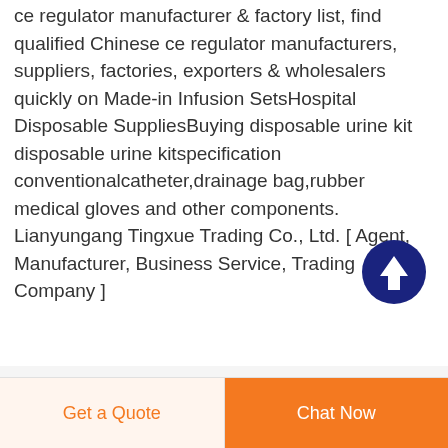ce regulator manufacturer & factory list, find qualified Chinese ce regulator manufacturers, suppliers, factories, exporters & wholesalers quickly on Made-in Infusion SetsHospital Disposable SuppliesBuying disposable urine kit disposable urine kitspecification conventionalcatheter,drainage bag,rubber medical gloves and other components. Lianyungang Tingxue Trading Co., Ltd. [ Agent, Manufacturer, Business Service, Trading Company ]
[Figure (other): Dark blue circular scroll-to-top button with white upward arrow]
Get a Quote
Chat Now